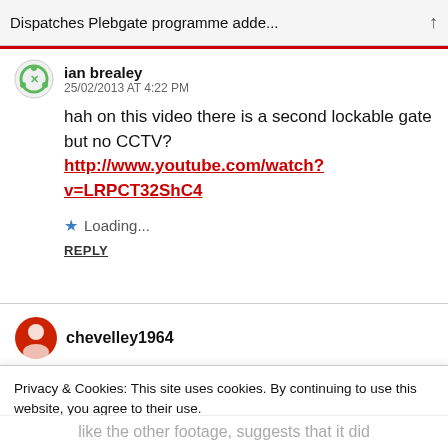Dispatches Plebgate programme adde...
ian brealey  25/02/2013 AT 4:22 PM
hah on this video there is a second lockable gate but no CCTV?
http://www.youtube.com/watch?v=LRPCT32ShC4
Loading...
REPLY
chevelley1964
Privacy & Cookies: This site uses cookies. By continuing to use this website, you agree to their use.
To find out more, including how to control cookies, see here: Cookie Policy
Close and accept
like the other footage, suggests that it did